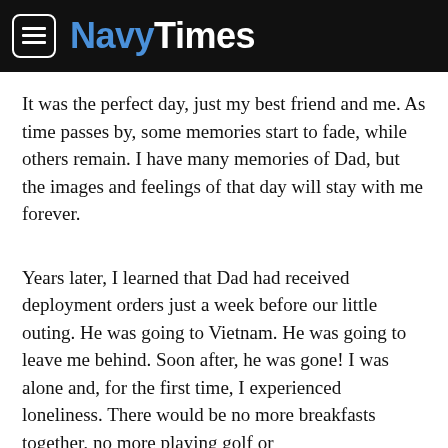NavyTimes
It was the perfect day, just my best friend and me. As time passes by, some memories start to fade, while others remain. I have many memories of Dad, but the images and feelings of that day will stay with me forever.
Years later, I learned that Dad had received deployment orders just a week before our little outing. He was going to Vietnam. He was going to leave me behind. Soon after, he was gone! I was alone and, for the first time, I experienced loneliness. There would be no more breakfasts together, no more playing golf or